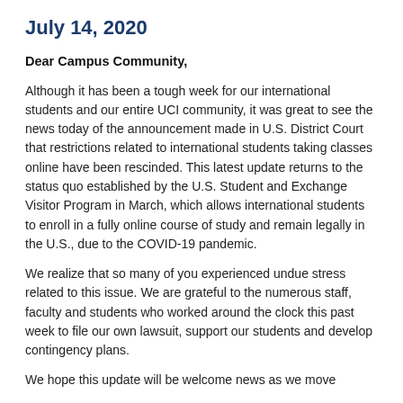July 14, 2020
Dear Campus Community,
Although it has been a tough week for our international students and our entire UCI community, it was great to see the news today of the announcement made in U.S. District Court that restrictions related to international students taking classes online have been rescinded. This latest update returns to the status quo established by the U.S. Student and Exchange Visitor Program in March, which allows international students to enroll in a fully online course of study and remain legally in the U.S., due to the COVID-19 pandemic.
We realize that so many of you experienced undue stress related to this issue. We are grateful to the numerous staff, faculty and students who worked around the clock this past week to file our own lawsuit, support our students and develop contingency plans.
We hope this update will be welcome news as we move